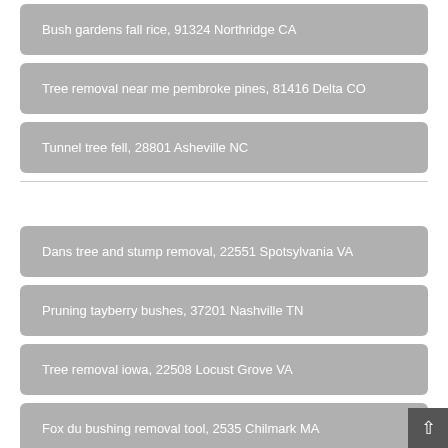Bush gardens fall rice, 91324 Northridge CA
Tree removal near me pembroke pines, 81416 Delta CO
Tunnel tree fell, 28801 Asheville NC
Dans tree and stump removal, 22551 Spotsylvania VA
Pruning tayberry bushes, 37201 Nashville TN
Tree removal iowa, 22508 Locust Grove VA
Fox du bushing removal tool, 2535 Chilmark MA